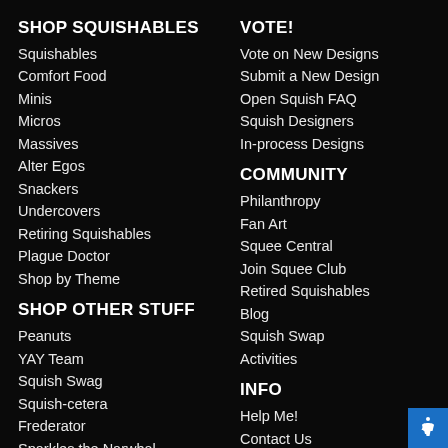SHOP SQUISHABLES
Squishables
Comfort Food
Minis
Micros
Massives
Alter Egos
Snackers
Undercovers
Retiring Squishables
Plague Doctor
Shop by Theme
SHOP OTHER STUFF
Peanuts
YAY Team
Squish Swag
Squish-cetera
Frederator
Sparkles the Narwhal
Crafts & Games
VOTE!
Vote on New Designs
Submit a New Design
Open Squish FAQ
Squish Designers
In-process Designs
COMMUNITY
Philanthropy
Fan Art
Squee Central
Join Squee Club
Retired Squishables
Blog
Squish Swap
Activities
INFO
Help Me!
Contact Us
Custom Plush